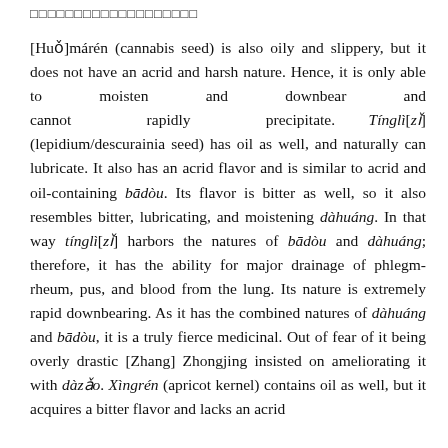□□□□□□□□□□□□□□□□□□□
[Huǒ]márén (cannabis seed) is also oily and slippery, but it does not have an acrid and harsh nature. Hence, it is only able to moisten and downbear and cannot rapidly precipitate. Tínglì[zǐ] (lepidium/descurainia seed) has oil as well, and naturally can lubricate. It also has an acrid flavor and is similar to acrid and oil-containing bādòu. Its flavor is bitter as well, so it also resembles bitter, lubricating, and moistening dàhuáng. In that way tínglì[zǐ] harbors the natures of bādòu and dàhuáng; therefore, it has the ability for major drainage of phlegm-rheum, pus, and blood from the lung. Its nature is extremely rapid downbearing. As it has the combined natures of dàhuáng and bādòu, it is a truly fierce medicinal. Out of fear of it being overly drastic [Zhang] Zhongjing insisted on ameliorating it with dàzǎo. Xìngrén (apricot kernel) contains oil as well, but it acquires a bitter flavor and lacks an acrid